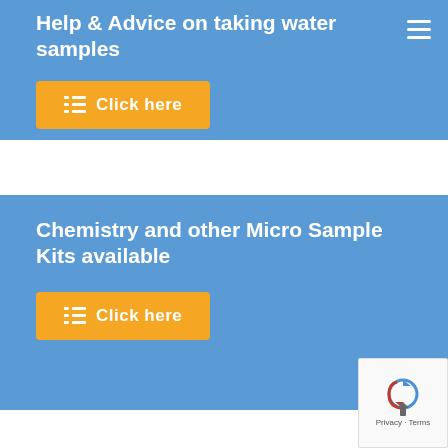Help & Advice on taking water samples
Click here
Chemistry and other Micro Sample Kits available
Click here